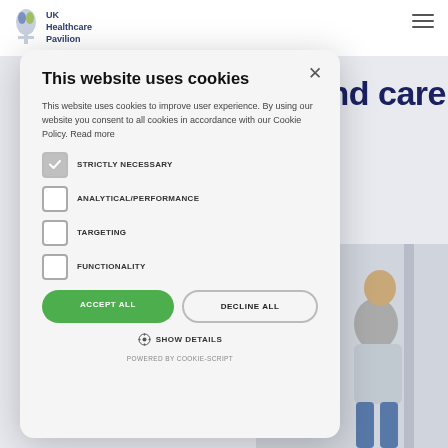UK Healthcare Pavilion
nd care
[Figure (photo): Person standing against a wall, photo visible behind cookie modal]
This website uses cookies
This website uses cookies to improve user experience. By using our website you consent to all cookies in accordance with our Cookie Policy. Read more
STRICTLY NECESSARY
ANALYTICAL/PERFORMANCE
TARGETING
FUNCTIONALITY
ACCEPT ALL
DECLINE ALL
SHOW DETAILS
POWERED BY COOKIE-SCRIPT